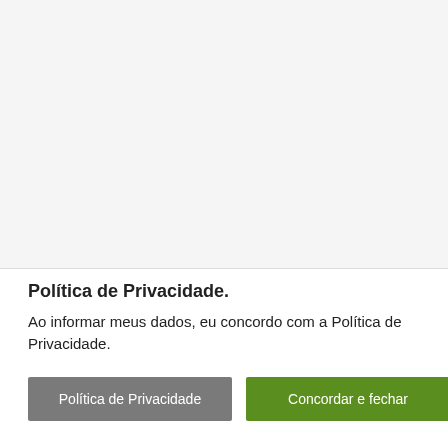Política de Privacidade.
Ao informar meus dados, eu concordo com a Política de Privacidade.